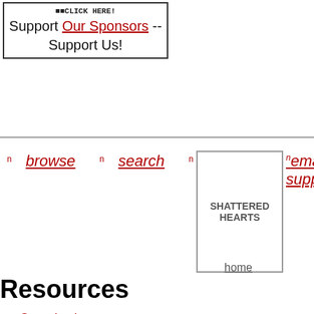[Figure (other): Advertisement box: 'CLICK HERE! Support Our Sponsors -- Support Us!']
[Figure (photo): SHATTERED HEARTS logo image placeholder with border]
browse   search   research
email support (partially visible)
home
Resources
Organizations
Recommended Reading
Web Links for more information
Email Support Groups